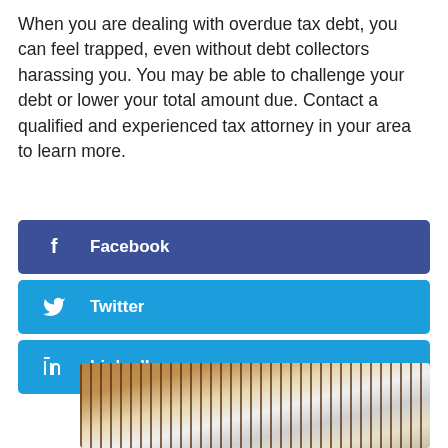When you are dealing with overdue tax debt, you can feel trapped, even without debt collectors harassing you. You may be able to challenge your debt or lower your total amount due. Contact a qualified and experienced tax attorney in your area to learn more.
[Figure (infographic): Three social sharing buttons: Facebook (dark blue), Twitter (light blue), LinkedIn (light blue)]
[Figure (photo): Interior photo showing a wooden staircase railing and a bright room with large windows, a lamp, and a plant.]